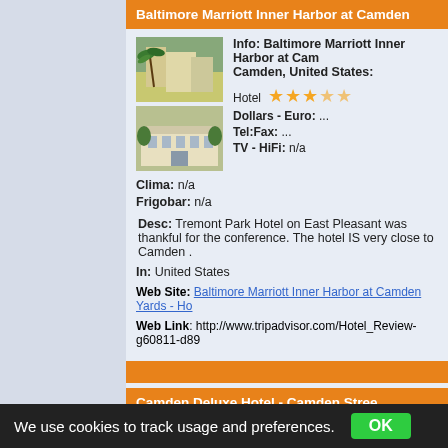Baltimore Marriott Inner Harbor at Camden
Info: Baltimore Marriott Inner Harbor at Camden, United States:
[Figure (photo): Two hotel photos stacked vertically]
Hotel ★★★☆☆
Dollars - Euro: ...
Tel:Fax: ...
TV - HiFi: n/a
Clima: n/a
Frigobar: n/a
Desc: Tremont Park Hotel on East Pleasant was thankful for the conference. The hotel IS very close to Camden .
In: United States
Web Site: Baltimore Marriott Inner Harbor at Camden Yards - Ho
Web Link: http://www.tripadvisor.com/Hotel_Review-g60811-d89
Camden Deluxe Hotel - Camden Stree
We use cookies to track usage and preferences.